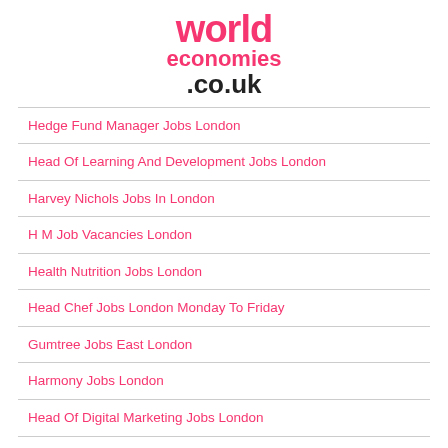[Figure (logo): worldeconomies.co.uk logo in pink and black]
Hedge Fund Manager Jobs London
Head Of Learning And Development Jobs London
Harvey Nichols Jobs In London
H M Job Vacancies London
Health Nutrition Jobs London
Head Chef Jobs London Monday To Friday
Gumtree Jobs East London
Harmony Jobs London
Head Of Digital Marketing Jobs London
Gumtree Weekend Babysitting Jobs London